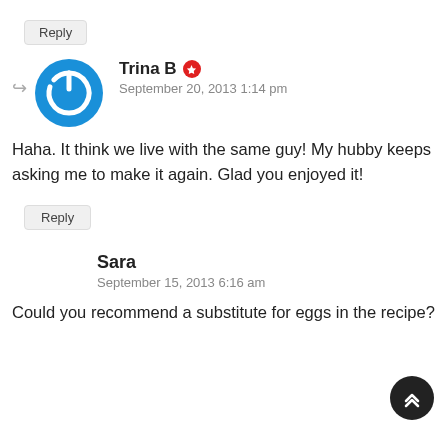Reply
Trina B
September 20, 2013 1:14 pm
Haha. It think we live with the same guy! My hubby keeps asking me to make it again. Glad you enjoyed it!
Reply
Sara
September 15, 2013 6:16 am
Could you recommend a substitute for eggs in the recipe?